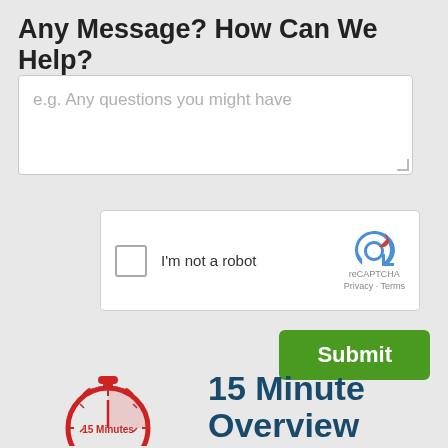Any Message? How Can We Help?
[Figure (screenshot): Web form textarea with placeholder text 'e.g. Any questions you might have']
[Figure (screenshot): reCAPTCHA widget with checkbox labeled 'I'm not a robot', reCAPTCHA logo, and Privacy · Terms links]
[Figure (screenshot): Green Submit button]
[Figure (infographic): Stopwatch icon with '15 Minutes' text inside and shaded quarter-arc, next to '15 Minute Overview' text]
Or call:
1-800-005-0017